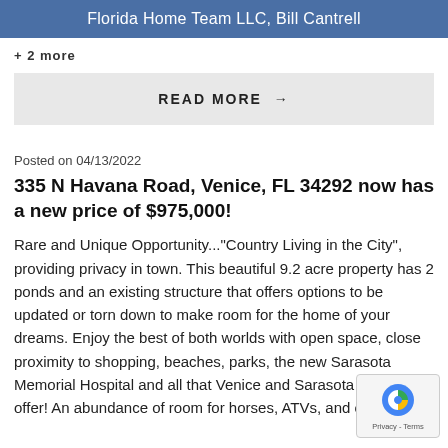Florida Home Team LLC, Bill Cantrell
+ 2 more
READ MORE →
Posted on 04/13/2022
335 N Havana Road, Venice, FL 34292 now has a new price of $975,000!
Rare and Unique Opportunity..."Country Living in the City", providing privacy in town. This beautiful 9.2 acre property has 2 ponds and an existing structure that offers options to be updated or torn down to make room for the home of your dreams. Enjoy the best of both worlds with open space, close proximity to shopping, beaches, parks, the new Sarasota Memorial Hospital and all that Venice and Sarasota have to offer! An abundance of room for horses, ATVs, and other.